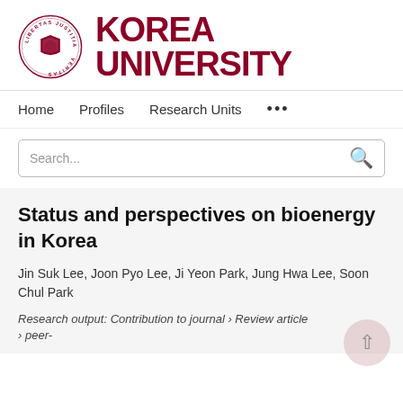[Figure (logo): Korea University logo — circular seal with Latin motto LIBERTAS JUSTITIA VERITAS and lion shield emblem, with KOREA UNIVERSITY text wordmark in dark red]
Home   Profiles   Research Units   ...
Search...
Status and perspectives on bioenergy in Korea
Jin Suk Lee, Joon Pyo Lee, Ji Yeon Park, Jung Hwa Lee, Soon Chul Park
Research output: Contribution to journal › Review article › peer-review